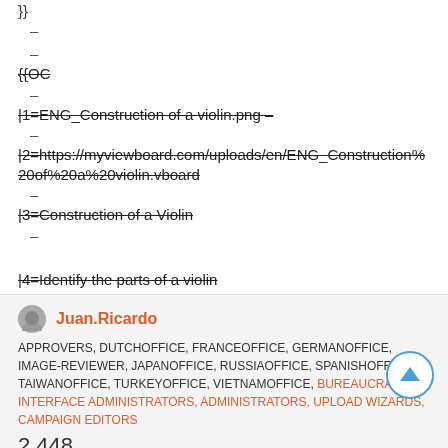}}
–
–
{{OC
–
|1=ENG_Construction of a violin.png –
–
|2=https://myviewboard.com/uploads/en/ENG_Construction%20of%20a%20violin.vboard
–
|3=Construction of a Violin
–
|4=Identify the parts of a violin
Juan.Ricardo
APPROVERS, DUTCHOFFICE, FRANCEOFFICE, GERMANOFFICE, IMAGE-REVIEWER, JAPANOFFICE, RUSSIAOFFICE, SPANISHOFFICE, TAIWANOFFICE, TURKEYOFFICE, VIETNAMOFFICE, BUREAUCRATS, INTERFACE ADMINISTRATORS, ADMINISTRATORS, UPLOAD WIZARDS, CAMPAIGN EDITORS
2,448